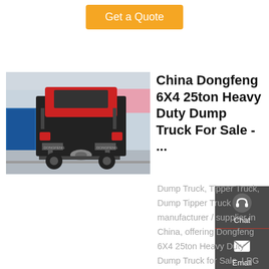Get a Quote
[Figure (photo): Rear view of a red Dongfeng heavy duty dump truck parked in a yard with blue shipping containers and a pink building in the background. Text 'DONGFENG' visible on the rear.]
China Dongfeng 6X4 25ton Heavy Duty Dump Truck For Sale - ...
Dump Truck, Tipper Truck, Dump Tipper Truck manufacturer / supplier in China, offering Dongfeng 6X4 25ton Heavy Duty Dump Truck for Sale, LPG Station 5 Tons 10000 Liters Station Filling Plant Ghana 10cbm Portable Station, 10000liters 10cbm 5t LPG...